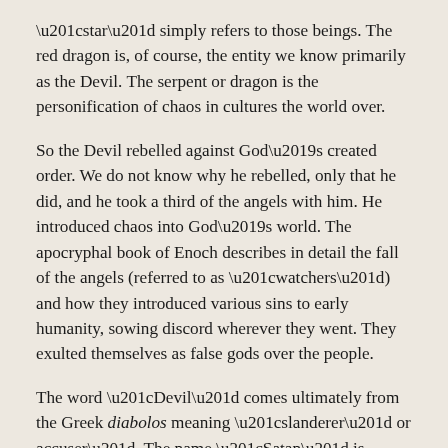“star” simply refers to those beings. The red dragon is, of course, the entity we know primarily as the Devil. The serpent or dragon is the personification of chaos in cultures the world over.
So the Devil rebelled against God’s created order. We do not know why he rebelled, only that he did, and he took a third of the angels with him. He introduced chaos into God’s world. The apocryphal book of Enoch describes in detail the fall of the angels (referred to as “watchers”) and how they introduced various sins to early humanity, sowing discord wherever they went. They exulted themselves as false gods over the people.
The word “Devil” comes ultimately from the Greek diabolos meaning “slanderer” or accuser”. The name “Satan” is Hebrew and means “adversary”. “Satan” is not a proper name, the way it’s used today. It’s actually a title for a class of demonic beings. Various individuals are